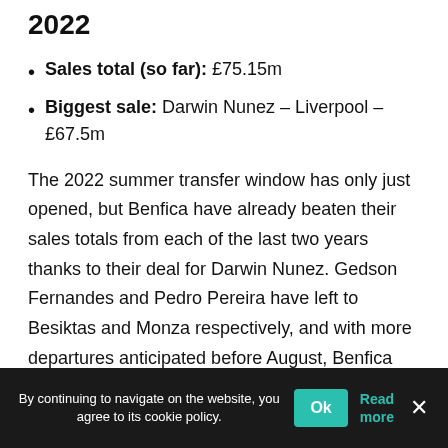2022
Sales total (so far): £75.15m
Biggest sale: Darwin Nunez – Liverpool – £67.5m
The 2022 summer transfer window has only just opened, but Benfica have already beaten their sales totals from each of the last two years thanks to their deal for Darwin Nunez. Gedson Fernandes and Pedro Pereira have left to Besiktas and Monza respectively, and with more departures anticipated before August, Benfica could be looking at another bumper payday.
By continuing to navigate on the website, you agree to its cookie policy. Ok Read more ×